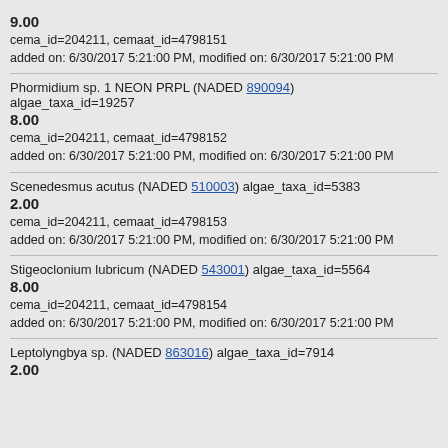9.00
cema_id=204211, cemaat_id=4798151
added on: 6/30/2017 5:21:00 PM, modified on: 6/30/2017 5:21:00 PM
Phormidium sp. 1 NEON PRPL (NADED 890094) algae_taxa_id=19257
8.00
cema_id=204211, cemaat_id=4798152
added on: 6/30/2017 5:21:00 PM, modified on: 6/30/2017 5:21:00 PM
Scenedesmus acutus (NADED 510003) algae_taxa_id=5383
2.00
cema_id=204211, cemaat_id=4798153
added on: 6/30/2017 5:21:00 PM, modified on: 6/30/2017 5:21:00 PM
Stigeoclonium lubricum (NADED 543001) algae_taxa_id=5564
8.00
cema_id=204211, cemaat_id=4798154
added on: 6/30/2017 5:21:00 PM, modified on: 6/30/2017 5:21:00 PM
Leptolyngbya sp. (NADED 863016) algae_taxa_id=7914
2.00